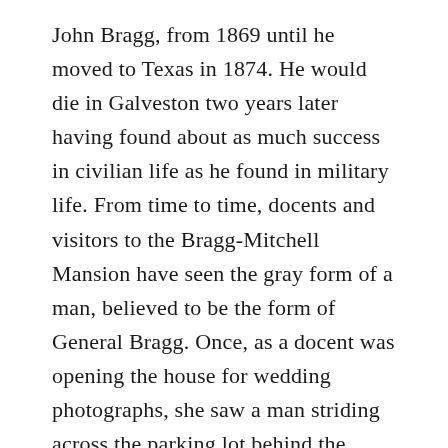John Bragg, from 1869 until he moved to Texas in 1874. He would die in Galveston two years later having found about as much success in civilian life as he found in military life. From time to time, docents and visitors to the Bragg-Mitchell Mansion have seen the gray form of a man, believed to be the form of General Bragg. Once, as a docent was opening the house for wedding photographs, she saw a man striding across the parking lot behind the house. The strange man neared the tool shed and vanished. A thorough search of the property by the docent and the wedding party did not uncover the gentleman.